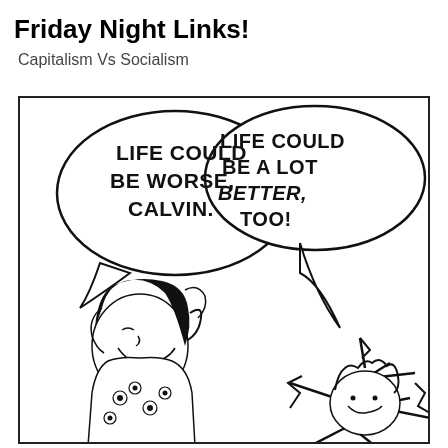Friday Night Links!
Capitalism Vs Socialism
[Figure (illustration): Calvin and Hobbes comic strip panel showing two speech bubbles. Left bubble reads 'LIFE COULD BE WORSE, CALVIN.' Right bubble reads 'LIFE COULD BE A LOT BETTER, TOO!' with BETTER in bold italic. Below the speech bubbles are illustrated characters — a girl (Susan/Susie) on the left with dark hair, and Calvin on the right in a starburst/explosion effect.]